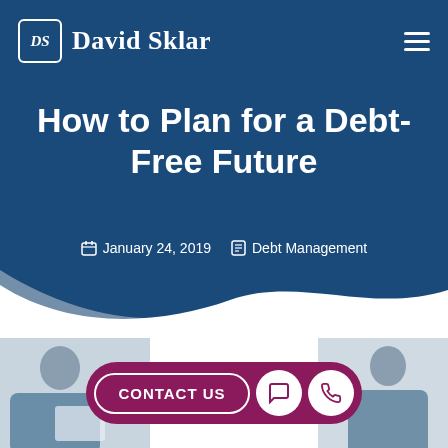David Sklar
How to Plan for a Debt-Free Future
January 24, 2019  Debt Management
[Figure (photo): Two people (likely a financial advisor and client) looking at documents together, partially visible at the bottom of the page]
CONTACT US